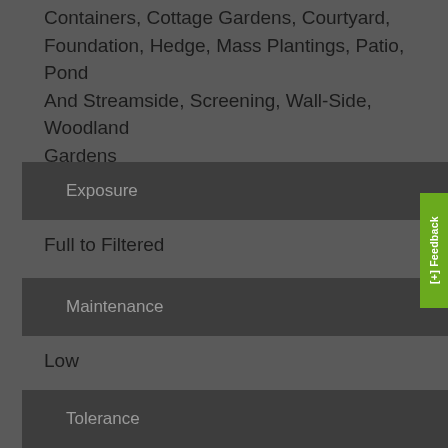Containers, Cottage Gardens, Courtyard, Foundation, Hedge, Mass Plantings, Patio, Pond And Streamside, Screening, Wall-Side, Woodland Gardens
Exposure
Full to Filtered
Maintenance
Low
Tolerance
Acidic Soils, Slight Shade